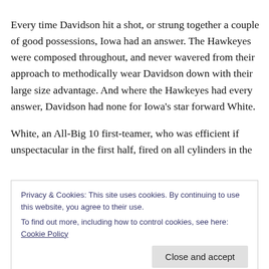Every time Davidson hit a shot, or strung together a couple of good possessions, Iowa had an answer. The Hawkeyes were composed throughout, and never wavered from their approach to methodically wear Davidson down with their large size advantage. And where the Hawkeyes had every answer, Davidson had none for Iowa's star forward White.
White, an All-Big 10 first-teamer, who was efficient if unspectacular in the first half, fired on all cylinders in the
Privacy & Cookies: This site uses cookies. By continuing to use this website, you agree to their use.
To find out more, including how to control cookies, see here: Cookie Policy
size advantage to whoever I was guarding," White told